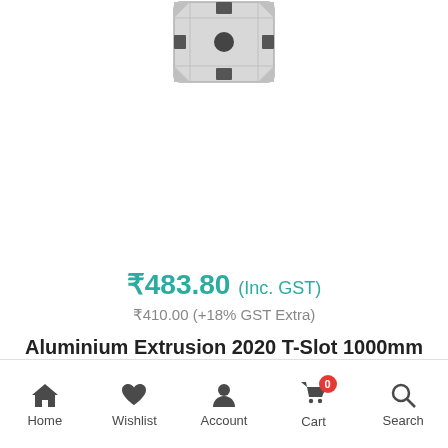[Figure (photo): Top-down partial view of an aluminium extrusion T-slot 2020 profile, silver metallic, showing the cross-section at the top of the image]
₹483.80 (Inc. GST)
₹410.00 (+18% GST Extra)
Aluminium Extrusion 2020 T-Slot 1000mm
Home  Wishlist  Account  Cart (0)  Search